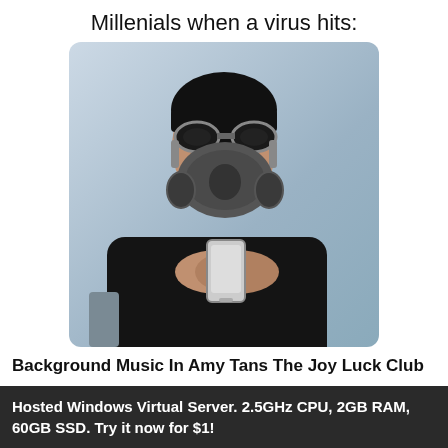Millenials when a virus hits:
[Figure (photo): Person wearing a full gas mask and goggles looking down at a smartphone, dressed in a black jacket, with a blurred blue background]
Background Music In Amy Tans The Joy Luck Club
The Ethical Issue Of In Vitro Fertilization - Sep 30,  · Sep 30,  · A high-level overview of Visa Inc. (V) stock. Stay up to date on the latest stock price, chart, news, analysis, fundamentals, trading and
Hosted Windows Virtual Server. 2.5GHz CPU, 2GB RAM, 60GB SSD. Try it now for $1!